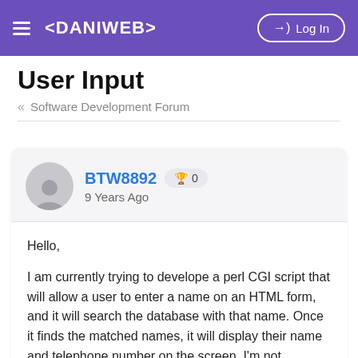≡ <DANIWEB>  →) Log In
User Input
« Software Development Forum
BTW8892  🏆 0
9 Years Ago
Hello,

I am currently trying to develope a perl CGI script that will allow a user to enter a name on an HTML form, and it will search the database with that name. Once it finds the matched names, it will display their name and telephone number on the screen. I'm not completely sure how to go about this, so I was wondering if anyone could share any sort of insight.